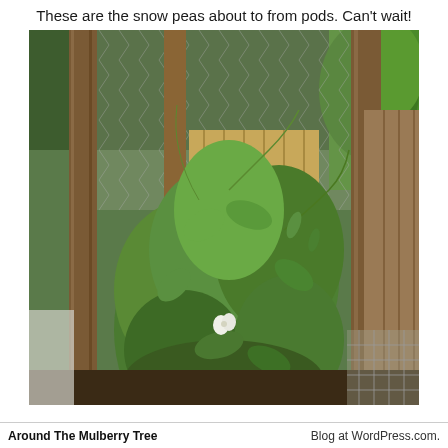These are the snow peas about to from pods. Can't wait!
[Figure (photo): Photograph of snow pea plants growing tall and lush inside a garden enclosure made of wooden posts and chicken wire fencing. The plants show green foliage and a white flower. Behind the fence is a wooden plank fence and green trees/shrubs.]
Around The Mulberry Tree    Blog at WordPress.com.